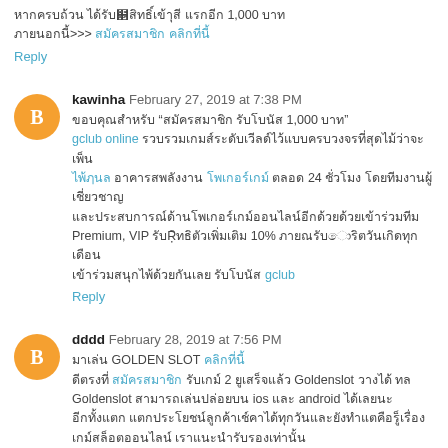Thai text ... 1,000 ... >>> [link] [link]
Reply
kawinha  February 27, 2019 at 7:38 PM
Thai text "Thai text 1,000 Thai" gclub online Thai text ... 24 ... Premium, VIP Thai text 10% Thai text gclub
Reply
dddd  February 28, 2019 at 7:56 PM
Thai text GOLDEN SLOT [link] Thai text [link] Thai text 2 Thai text Goldenslot Thai text Goldenslot Thai text ios Thai android Thai text ...